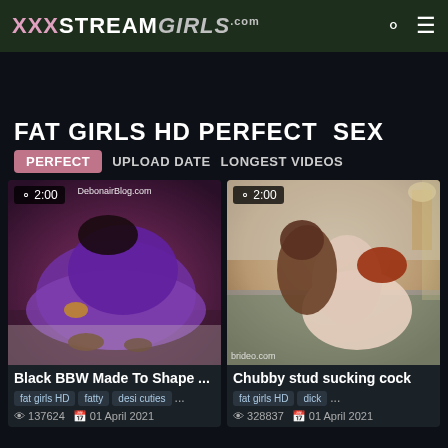XXXSTREAMGIRLS.com
FAT GIRLS HD PERFECT SEX
PERFECT  UPLOAD DATE  LONGEST VIDEOS
[Figure (photo): Thumbnail of BBW woman in purple dress, text overlay DebonairBlog.com, duration badge 2:00]
Black BBW Made To Shape ...
fat girls HD  fatty  desi cuties  ...
137624  01 April 2021
[Figure (photo): Thumbnail of couple on bed, duration badge 2:00, watermark brideo.com]
Chubby stud sucking cock
fat girls HD  dick  ...
328837  01 April 2021